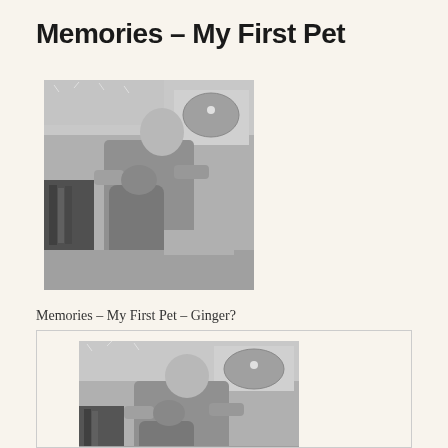Memories – My First Pet
[Figure (photo): Black and white photograph of a young child holding a cat, with tinsel/Christmas decorations in background and a round TV screen visible]
Memories – My First Pet – Ginger?
[Figure (photo): Black and white photograph (cropped/zoomed in) of the same young child with a cat, with tinsel decorations and TV visible in background, shown inside a bordered card frame]